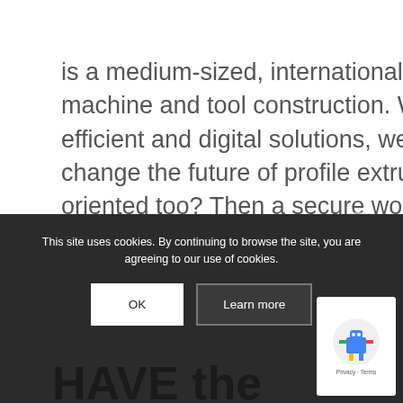is a medium-sized, international company in the field of machine and tool construction. With innovative, energy-efficient and digital solutions, we continue to expand and change the future of profile extrusion! Are you success-oriented too? Then a secure workplace awaits YOU!
[Figure (illustration): Green circular phone call button with white phone icon, on a grey ring background]
[Figure (logo): Green square logo with white H letter formed by rectangular blocks]
This site uses cookies. By continuing to browse the site, you are agreeing to our use of cookies.
[Figure (illustration): Google reCAPTCHA badge with robot icon and Privacy - Terms text]
HAVE the